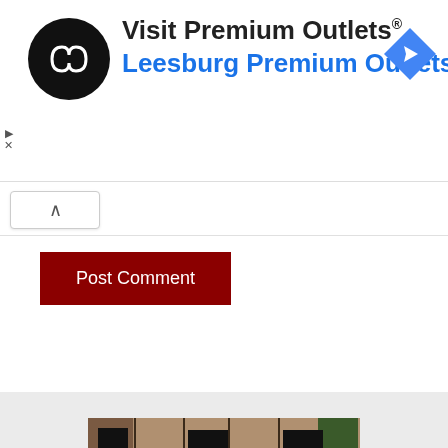[Figure (logo): Advertisement banner: Premium Outlets logo (black circle with white infinity-like symbol), text 'Visit Premium Outlets®' in dark gray large font, 'Leesburg Premium Outlets' in blue large font, blue diamond navigation arrow icon on the right. Small play and X icons on the left margin.]
[Figure (other): Collapse/minimize button (caret up icon) in a white rounded rectangle box]
Post Comment
[Figure (photo): Photograph of a black and white Papillon dog sitting in front of a brick wall/fireplace. The dog has large butterfly-like ears, brown eyes, and is looking at the camera.]